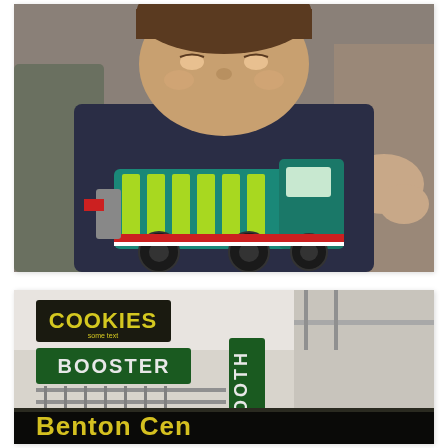[Figure (photo): Close-up photo of a young boy looking down, wearing a navy blue sweatshirt with an embroidered/applique garbage truck design in teal and yellow-green colors. Other people are visible in the blurred background.]
[Figure (photo): Indoor photo showing a 'Booster Booth' sign in green and white, a 'Cookies' sign in yellow on black background, and a large 'Benton Cen[ter]' banner in yellow letters on a black background, appearing to be inside a school or community center gymnasium/event space.]